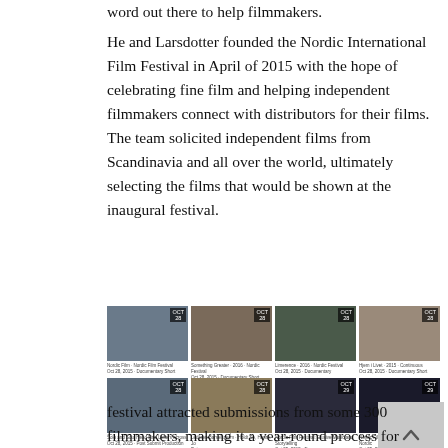word out there to help filmmakers.
He and Larsdotter founded the Nordic International Film Festival in April of 2015 with the hope of celebrating fine film and helping independent filmmakers connect with distributors for their films. The team solicited independent films from Scandinavia and all over the world, ultimately selecting the films that would be shown at the inaugural festival.
[Figure (photo): Grid of film thumbnail images from the Nordic International Film Festival, arranged in three rows of four, each with a date badge and caption. Text 'This year’s' appears to the right of the first row.]
festival attracted submissions from some 300 filmmakers, making it a year-round process for